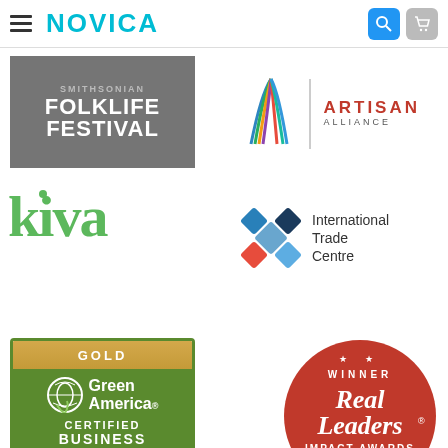NOVICA navigation bar with hamburger menu, search and cart icons
[Figure (logo): Folklife Festival logo - text on grey background: FOLKLIFE FESTIVAL]
[Figure (logo): Artisan Alliance logo with colorful feather/leaf icon and text ARTISAN ALLIANCE]
[Figure (logo): Kiva logo in green serif font]
[Figure (logo): International Trade Centre logo with cross/diamond grid icon in blue, red, dark blue colors and text International Trade Centre]
[Figure (logo): Green America GOLD Certified Business badge - green and gold badge]
[Figure (logo): Real Leaders Impact Awards 2022 WINNER circular badge in red with gold laurel wreath]